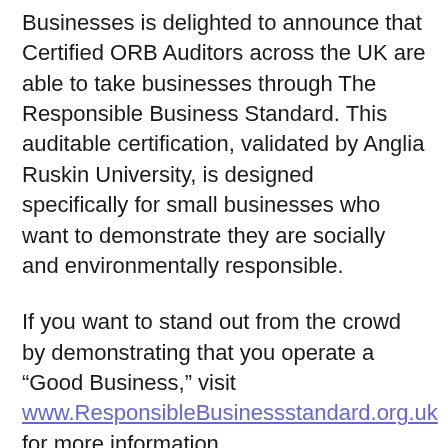Businesses is delighted to announce that Certified ORB Auditors across the UK are able to take businesses through The Responsible Business Standard. This auditable certification, validated by Anglia Ruskin University, is designed specifically for small businesses who want to demonstrate they are socially and environmentally responsible.
If you want to stand out from the crowd by demonstrating that you operate a “Good Business,” visit www.ResponsibleBusinessstandard.org.uk for more information.
Would you like your business